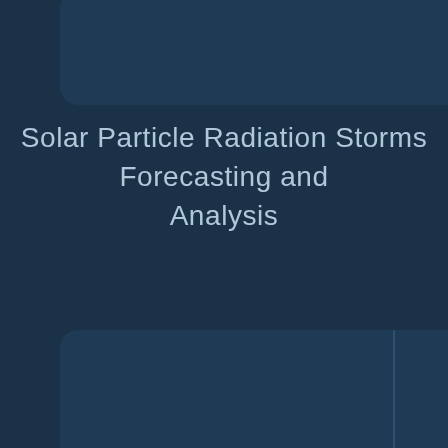Solar Particle Radiation Storms Forecasting and Analysis